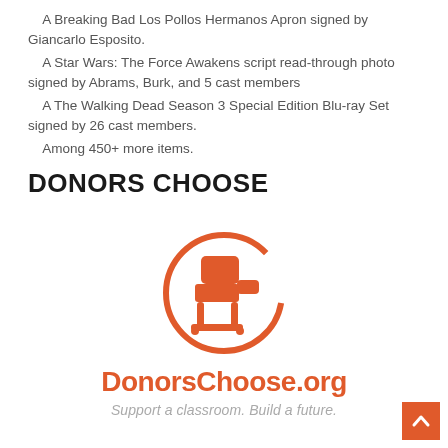A Breaking Bad Los Pollos Hermanos Apron signed by Giancarlo Esposito.
A Star Wars: The Force Awakens script read-through photo signed by Abrams, Burk, and 5 cast members
A The Walking Dead Season 3 Special Edition Blu-ray Set signed by 26 cast members.
Among 450+ more items.
DONORS CHOOSE
[Figure (logo): DonorsChoose.org logo: orange school chair inside an orange circle arc]
DonorsChoose.org
Support a classroom. Build a future.